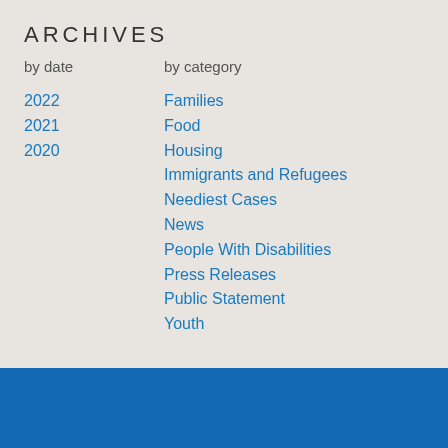ARCHIVES
by date	by category
2022
2021
2020
Families
Food
Housing
Immigrants and Refugees
Neediest Cases
News
People With Disabilities
Press Releases
Public Statement
Youth